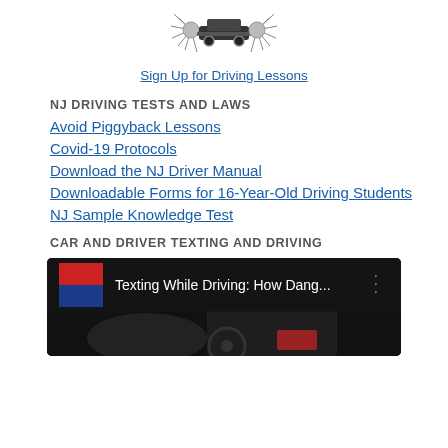[Figure (logo): Driving school logo with car and spiky silver accents]
Sign Up for Driving Lessons
NJ DRIVING TESTS AND LAWS
Avoid Piggyback Lessons
Covid-19 Protocols
Download the NJ Driver Manual
Downloadable Forms for 16-Year-Old Driving Students
NJ Sample Knowledge Test
CAR AND DRIVER TEXTING AND DRIVING
[Figure (screenshot): YouTube video thumbnail for 'Texting While Driving: How Dang...' showing a driver in a dark car interior with a red/blue circular channel icon]